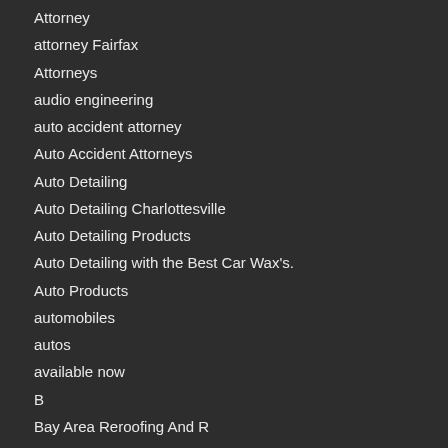Attorney
attorney Fairfax
Attorneys
audio engineering
auto accident attorney
Auto Accident Attorneys
Auto Detailing
Auto Detailing Charlottesville
Auto Detailing Products
Auto Detailing with the Best Car Wax's.
Auto Products
automobiles
autos
available now
B
Bay Area Reroofing And R
Bay Area Roof Repair Company